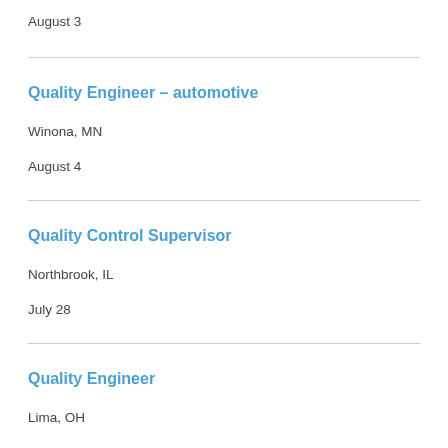August 3
Quality Engineer – automotive
Winona, MN
August 4
Quality Control Supervisor
Northbrook, IL
July 28
Quality Engineer
Lima, OH